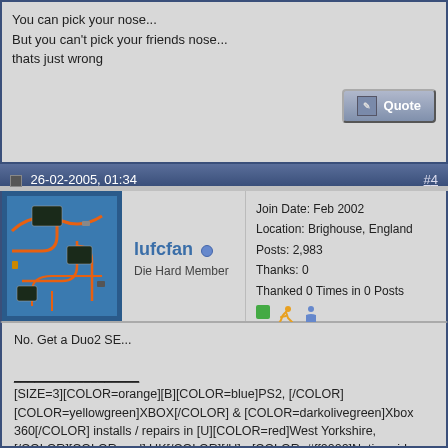You can pick your nose...
But you can't pick your friends nose...
thats just wrong
26-02-2005, 01:34  #4
[Figure (photo): Avatar image of a circuit board with orange traces on blue PCB]
lufcfan
Die Hard Member
Join Date: Feb 2002
Location: Brighouse, England
Posts: 2,983
Thanks: 0
Thanked 0 Times in 0 Posts
No. Get a Duo2 SE...

__________________
[SIZE=3][COLOR=orange][B][COLOR=blue]PS2, [/COLOR][COLOR=yellowgreen]XBOX[/COLOR] & [COLOR=darkolivegreen]Xbox 360[/COLOR] installs / repairs in [U][COLOR=red]West Yorkshire, [/COLOR][COLOR=red] UK[/COLOR][/U] - [COLOR=#ff0000]Nationwide Service [/COLOR][COLOR=darkorange]-[/COLOR]Please Contact me by PM for more info[/B][/COLOR][/SIZE] :)

[B][SIZE=4][COLOR=#ff0000][COLOR=seagreen]360 DVD Drive Fw.[/COLOR] [COLOR=orange]Upgraded/Recovered/Restored -[/COLOR] Bad Flash? No Problem! [COLOR=blue]PM for info[/COLOR][/COLOR][/SIZE][/B]